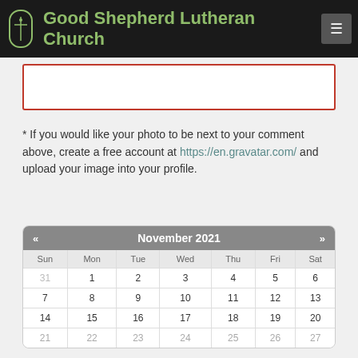Good Shepherd Lutheran Church
[Figure (screenshot): Text input form field with red border outline]
* If you would like your photo to be next to your comment above, create a free account at https://en.gravatar.com/ and upload your image into your profile.
| Sun | Mon | Tue | Wed | Thu | Fri | Sat |
| --- | --- | --- | --- | --- | --- | --- |
| 31 | 1 | 2 | 3 | 4 | 5 | 6 |
| 7 | 8 | 9 | 10 | 11 | 12 | 13 |
| 14 | 15 | 16 | 17 | 18 | 19 | 20 |
| 21 | 22 | 23 | 24 | 25 | 26 | 27 |